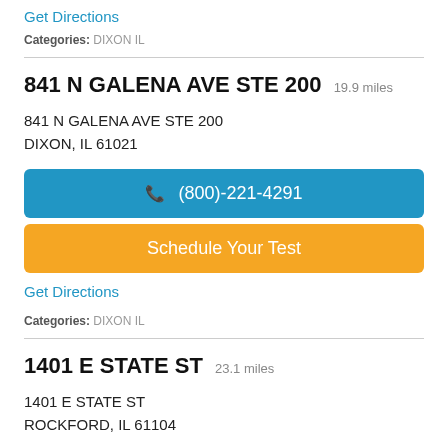Get Directions
Categories: DIXON IL
841 N GALENA AVE STE 200  19.9 miles
841 N GALENA AVE STE 200
DIXON, IL 61021
(800)-221-4291
Schedule Your Test
Get Directions
Categories: DIXON IL
1401 E STATE ST  23.1 miles
1401 E STATE ST
ROCKFORD, IL 61104
(800)-221-4291